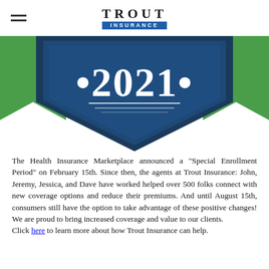TROUT INSURANCE
[Figure (illustration): Dark navy shield/badge shape with '2021' text in large white serif font with bullet decorations on each side, and two horizontal white lines below. Green ribbon/chevron accents on left and right sides of the badge.]
The Health Insurance Marketplace announced a "Special Enrollment Period" on February 15th. Since then, the agents at Trout Insurance: John, Jeremy, Jessica, and Dave have worked helped over 500 folks connect with new coverage options and reduce their premiums. And until August 15th, consumers still have the option to take advantage of these positive changes! We are proud to bring increased coverage and value to our clients.
Click here to learn more about how Trout Insurance can help.